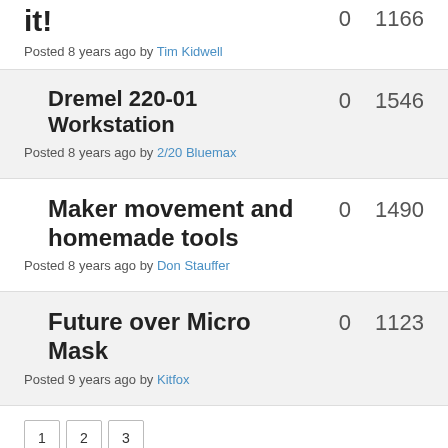it!
0    1166
Posted 8 years ago by Tim Kidwell
Dremel 220-01 Workstation
0    1546
Posted 8 years ago by 2/20 Bluemax
Maker movement and homemade tools
0    1490
Posted 8 years ago by Don Stauffer
Future over Micro Mask
0    1123
Posted 9 years ago by Kitfox
1
2
3